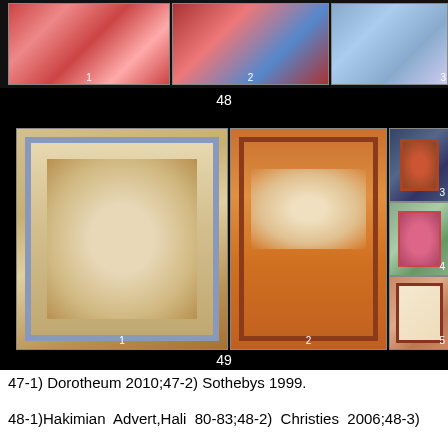[Figure (photo): Strip of three antique rug photographs labeled 1, 2, 3 (figure 48). Rug 1: red ground with geometric/floral border. Rug 2: red/blue bordered medallion rug. Rug 3: light blue ground rug.]
48
[Figure (photo): Five antique rug photographs (figure 49). Left: large cream/tan ground rug with blue border (label 1). Center: large orange/rust ground medallion rug (label 2). Right column top to bottom: dark blue ground rug (label 3), green ground rug (label 4), cream/ivory ground rug with red border (label 5).]
49
47-1) Dorotheum 2010;47-2) Sothebys 1999.
48-1)Hakimian Advert,Hali 80-83;48-2) Christies 2006;48-3)